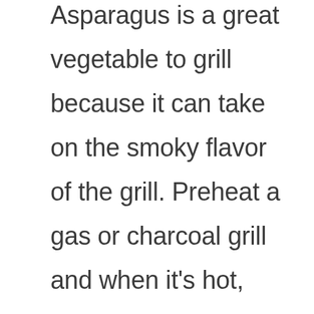Asparagus is a great vegetable to grill because it can take on the smoky flavor of the grill. Preheat a gas or charcoal grill and when it's hot, brush some olive oil onto the asparagus spears. Grill the asparagus for about 2 minutes on each side, turning carefully so that they cook evenly. Asparagus is one of the most sought-after vegetables because it can be purchased cheaply and with a great number of health related benefits.